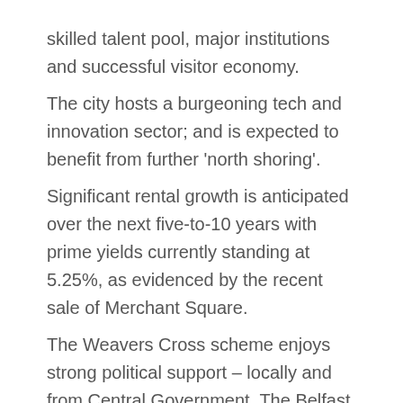skilled talent pool, major institutions and successful visitor economy. The city hosts a burgeoning tech and innovation sector; and is expected to benefit from further 'north shoring'. Significant rental growth is anticipated over the next five-to-10 years with prime yields currently standing at 5.25%, as evidenced by the recent sale of Merchant Square. The Weavers Cross scheme enjoys strong political support – locally and from Central Government. The Belfast Region City Deal commits £700m of public investment; and the UK Government has recently made a commitment to move Whitehall